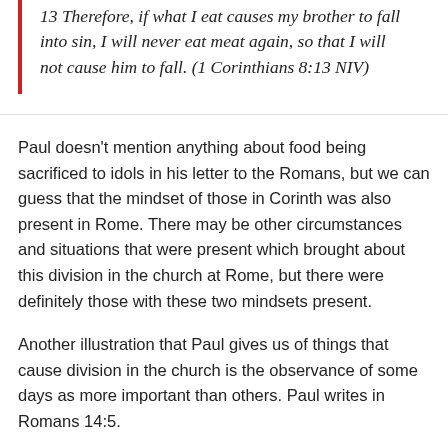13 Therefore, if what I eat causes my brother to fall into sin, I will never eat meat again, so that I will not cause him to fall. (1 Corinthians 8:13 NIV)
Paul doesn't mention anything about food being sacrificed to idols in his letter to the Romans, but we can guess that the mindset of those in Corinth was also present in Rome. There may be other circumstances and situations that were present which brought about this division in the church at Rome, but there were definitely those with these two mindsets present.
Another illustration that Paul gives us of things that cause division in the church is the observance of some days as more important than others. Paul writes in Romans 14:5.
5 One man considers one day more sacred than another; another man considers every day alike. Each